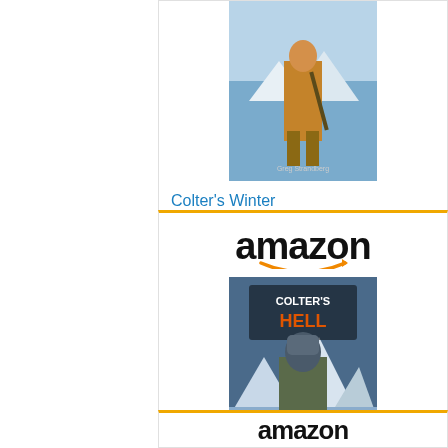[Figure (screenshot): Amazon product listing card for 'Colter's Winter (The Mountain...)' priced at $3.99 with a Shop now button, partially visible at top of page]
Colter's Winter (The Mountain...
$3.99
[Figure (screenshot): Amazon product listing card for 'Colter's Hell (The Mountain...)' priced at $3.99 with amazon logo, book cover image, title, price, and Shop now button]
Colter's Hell (The Mountain...
$3.99
[Figure (screenshot): Partial amazon logo bar at bottom of page]